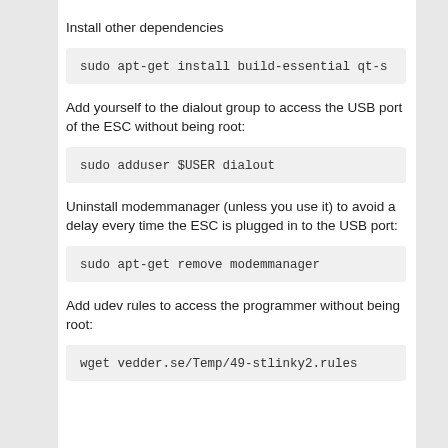Install other dependencies
sudo apt-get install build-essential qt-s
Add yourself to the dialout group to access the USB port of the ESC without being root:
sudo adduser $USER dialout
Uninstall modemmanager (unless you use it) to avoid a delay every time the ESC is plugged in to the USB port:
sudo apt-get remove modemmanager
Add udev rules to access the programmer without being root:
wget vedder.se/Temp/49-stlinky2.rules